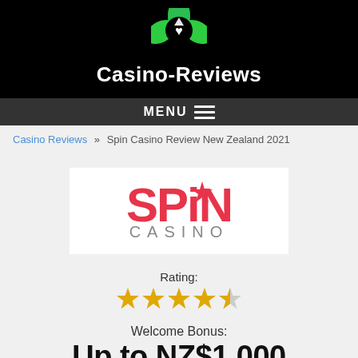[Figure (logo): Casino-Reviews website header with green and black spade/heart logo icon and white text 'Casino-Reviews' on black background, with MENU bar below]
Casino Reviews » Spin Casino Review New Zealand 2021
[Figure (logo): Spin Casino logo: bold red/pink text 'SPIN' with a star replacing the 'I', and grey text 'CASINO' below, on white background]
Rating:
[Figure (infographic): 4.5 out of 5 stars rating displayed as gold filled stars]
Welcome Bonus:
Up to NZ$1,000